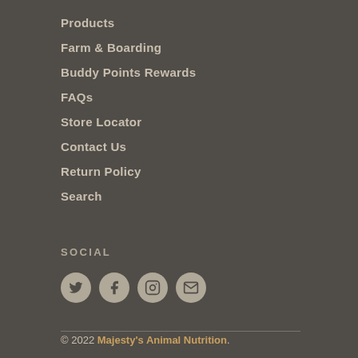Products
Farm & Boarding
Buddy Points Rewards
FAQs
Store Locator
Contact Us
Return Policy
Search
SOCIAL
[Figure (illustration): Four social media icon buttons in circles: Twitter, Facebook, Instagram, Email]
© 2022 Majesty's Animal Nutrition.